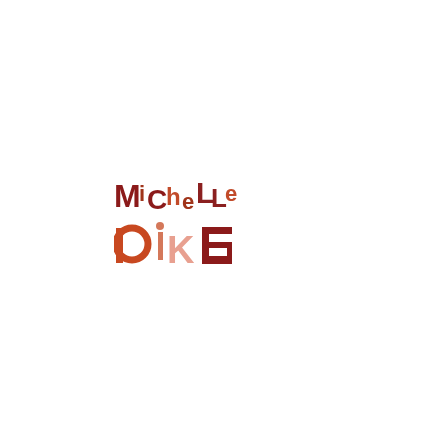[Figure (logo): Michelle Pike logo: playful hand-lettered style text in two lines. Line 1: 'MiCheLLe' in dark red/crimson with mixed case letters at varying heights. Line 2: 'PiKE' in terracotta/orange-red with larger block letters, 'P' as a circular letterform. Colors range from dark crimson (#8B1A1A) to terracotta (#C24B2A) to salmon (#E8A090) to dark red block (#9B2020).]